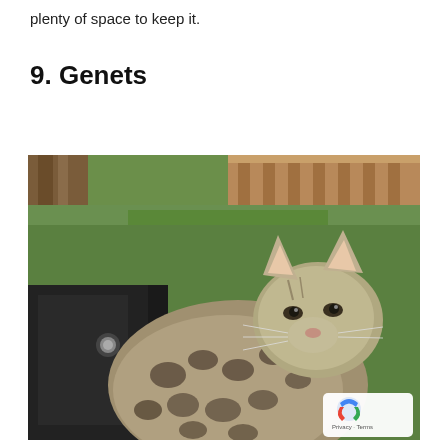plenty of space to keep it.
9. Genets
[Figure (photo): A genet with spotted fur and large ears sits outdoors on a dark bag or backpack, with a grassy lawn and wooden fence visible in the background.]